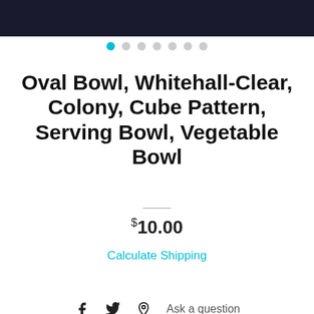[Figure (photo): Product image of an oval glass bowl — dark background, top portion visible]
[Figure (other): Carousel navigation dots — first dot is cyan/active, remaining six are grey]
Oval Bowl, Whitehall-Clear, Colony, Cube Pattern, Serving Bowl, Vegetable Bowl
$10.00
Calculate Shipping
Add to cart
Ask a question